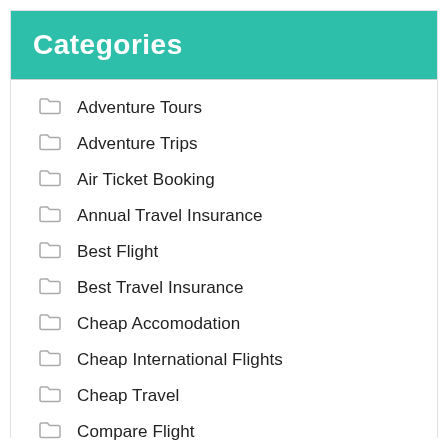Categories
Adventure Tours
Adventure Trips
Air Ticket Booking
Annual Travel Insurance
Best Flight
Best Travel Insurance
Cheap Accomodation
Cheap International Flights
Cheap Travel
Compare Flight